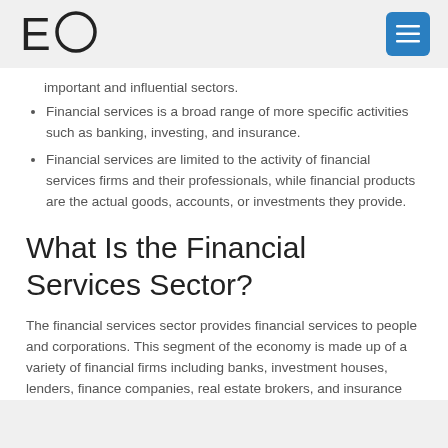EO [logo] [menu button]
important and influential sectors.
Financial services is a broad range of more specific activities such as banking, investing, and insurance.
Financial services are limited to the activity of financial services firms and their professionals, while financial products are the actual goods, accounts, or investments they provide.
What Is the Financial Services Sector?
The financial services sector provides financial services to people and corporations. This segment of the economy is made up of a variety of financial firms including banks, investment houses, lenders, finance companies, real estate brokers, and insurance